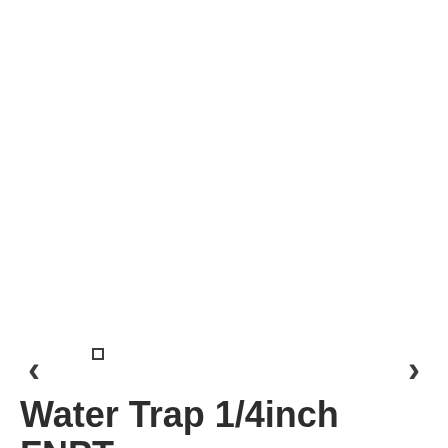[Figure (photo): White/blank image area for product photo of Water Trap 1/4inch FNPT, with navigation arrows and dot indicator]
Water Trap 1/4inch FNPT